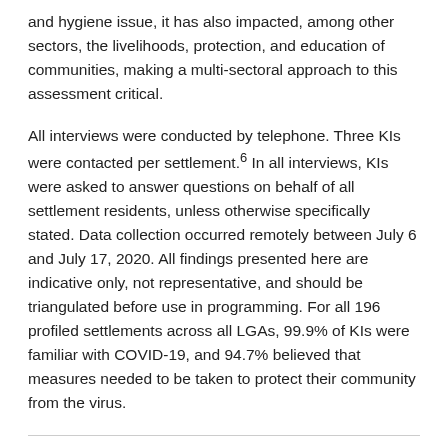and hygiene issue, it has also impacted, among other sectors, the livelihoods, protection, and education of communities, making a multi-sectoral approach to this assessment critical.
All interviews were conducted by telephone. Three KIs were contacted per settlement.6 In all interviews, KIs were asked to answer questions on behalf of all settlement residents, unless otherwise specifically stated. Data collection occurred remotely between July 6 and July 17, 2020. All findings presented here are indicative only, not representative, and should be triangulated before use in programming. For all 196 profiled settlements across all LGAs, 99.9% of KIs were familiar with COVID-19, and 94.7% believed that measures needed to be taken to protect their community from the virus.